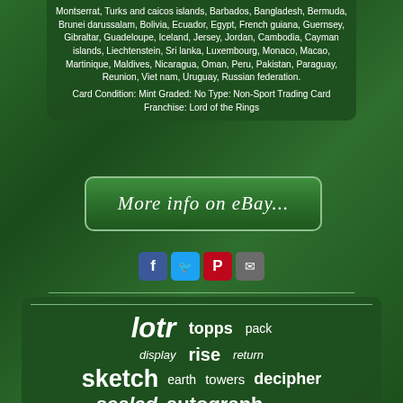Montserrat, Turks and caicos islands, Barbados, Bangladesh, Bermuda, Brunei darussalam, Bolivia, Ecuador, Egypt, French guiana, Guernsey, Gibraltar, Guadeloupe, Iceland, Jersey, Jordan, Cambodia, Cayman islands, Liechtenstein, Sri lanka, Luxembourg, Monaco, Macao, Martinique, Maldives, Nicaragua, Oman, Peru, Pakistan, Paraguay, Reunion, Viet nam, Uruguay, Russian federation.
Card Condition: Mint Graded: No Type: Non-Sport Trading Card Franchise: Lord of the Rings
[Figure (other): More info on eBay... button link]
[Figure (other): Social media share icons: Facebook, Twitter, Pinterest, Email]
lotr topps pack display rise return sketch earth towers decipher sealed autograph smaug masterpieces auto booster deck